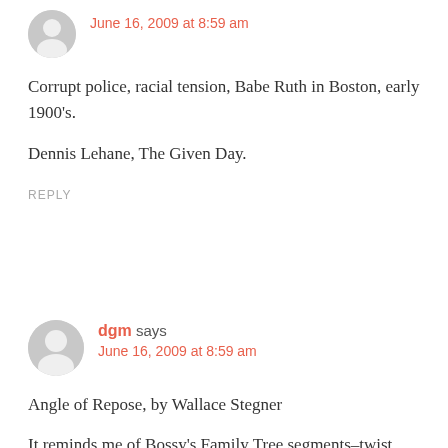[Figure (illustration): Gray avatar icon (silhouette of a person) for first commenter, partially visible at top]
June 16, 2009 at 8:59 am
Corrupt police, racial tension, Babe Ruth in Boston, early 1900's.
Dennis Lehane, The Given Day.
REPLY
[Figure (illustration): Gray avatar icon (silhouette of a person) for commenter dgm]
dgm says
June 16, 2009 at 8:59 am
Angle of Repose, by Wallace Stegner
It reminds me of Bossy's Family Tree segments–twist included.